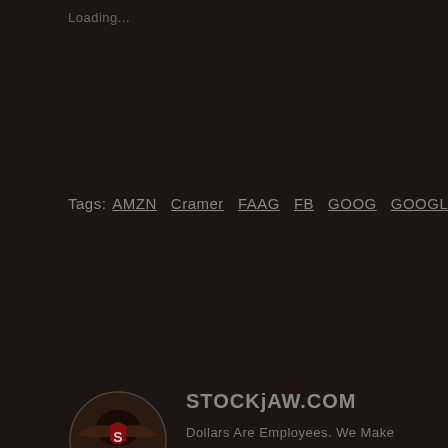Loading...
Tags: AMZN  Cramer  FAAG  FB  GOOG  GOOGL  NFLX
[Figure (logo): STOCKjAW.COM circular logo with eagle and shield design, red and dark colors]
STOCKjAW.COM
Dollars Are Employees. We Make Them Work. Slack Dollars Reborn Busy. STOCKjAW helps You make the dollars you worked for work back. Do it simple and streamlined. Or do it Full-Bore. Stocks, ETFs, and more. It's Your cash. Sj helps you point it in the correct direction.